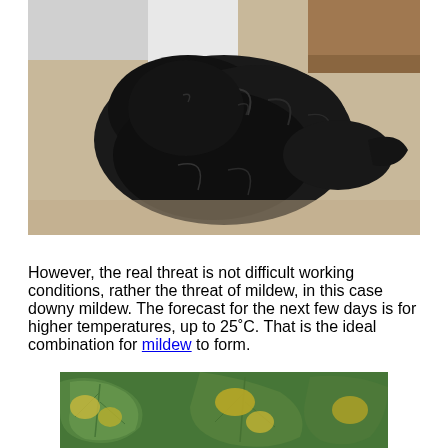[Figure (photo): A wet black fluffy dog lying on a wooden/tan surface, viewed from above, with a white wall corner visible in the background.]
However, the real threat is not difficult working conditions, rather the threat of mildew, in this case downy mildew. The forecast for the next few days is for higher temperatures, up to 25˚C. That is the ideal combination for mildew to form.
[Figure (photo): Close-up photograph of grape vine leaves showing yellowing and disease symptoms consistent with downy mildew infection.]